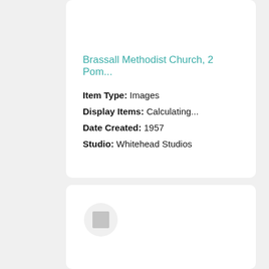Brassall Methodist Church, 2 Pom...
Item Type: Images
Display Items: Calculating...
Date Created: 1957
Studio: Whitehead Studios
[Figure (other): Small grey square thumbnail inside a circular grey background placeholder]